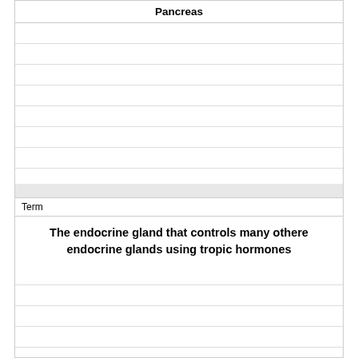Pancreas
Term
The endocrine gland that controls many othere endocrine glands using tropic hormones